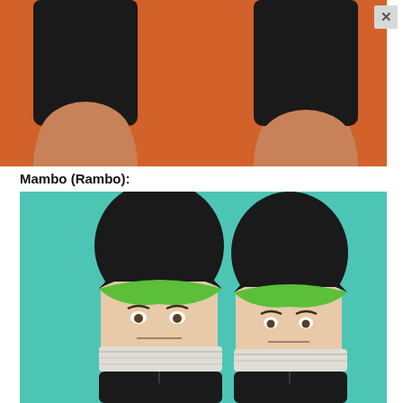[Figure (photo): Photo of two legs wearing black socks against an orange background, viewed from the front/side showing ankles and lower legs.]
Mambo (Rambo):
[Figure (photo): Photo of a pair of novelty socks featuring a cartoon Rambo character face with dark hair and a green headband on a teal/turquoise background. Two socks displayed side by side showing the face design.]